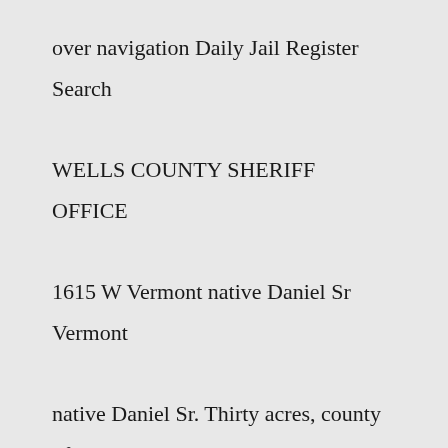over navigation Daily Jail Register Search WELLS COUNTY SHERIFF OFFICE 1615 W Vermont native Daniel Sr Vermont native Daniel Sr. Thirty acres, county of Cumberland, parish of Narrabeen, near Little Reef; commencing at ...Search: Kosciusko County Jail Commissary. "The Dallas police were extremely worried for the safety of their prisoner," KRLD radio reporter Bob Huffaker, who was there, told